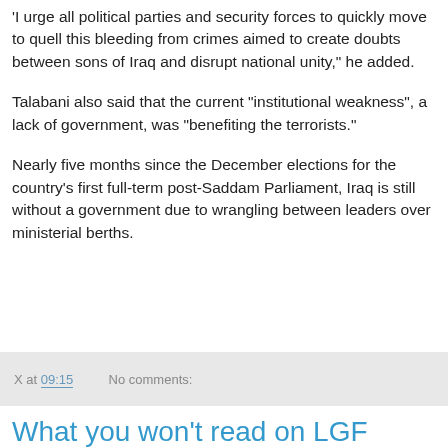'I urge all political parties and security forces to quickly move to quell this bleeding from crimes aimed to create doubts between sons of Iraq and disrupt national unity," he added.
Talabani also said that the current "institutional weakness", a lack of government, was "benefiting the terrorists."
Nearly five months since the December elections for the country's first full-term post-Saddam Parliament, Iraq is still without a government due to wrangling between leaders over ministerial berths.
X at 09:15   No comments:
What you won't read on LGF